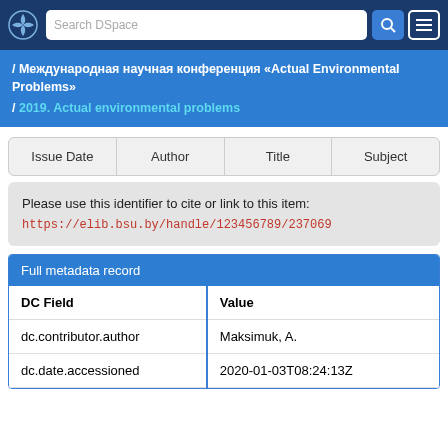Search DSpace
/ Международная научная конференция «Actual Environmental Problems» / 2019. Actual environmental problems
| Issue Date | Author | Title | Subject |
| --- | --- | --- | --- |
Please use this identifier to cite or link to this item: https://elib.bsu.by/handle/123456789/237069
| DC Field | Value |
| --- | --- |
| dc.contributor.author | Maksimuk, A. |
| dc.date.accessioned | 2020-01-03T08:24:13Z |